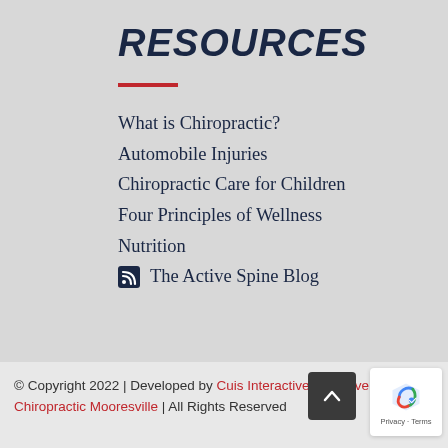RESOURCES
What is Chiropractic?
Automobile Injuries
Chiropractic Care for Children
Four Principles of Wellness
Nutrition
The Active Spine Blog
© Copyright 2022 | Developed by Cuis Interactive for Active Spine Chiropractic Mooresville | All Rights Reserved